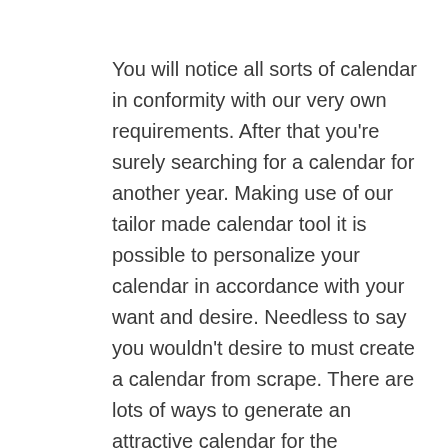You will notice all sorts of calendar in conformity with our very own requirements. After that you're surely searching for a calendar for another year. Making use of our tailor made calendar tool it is possible to personalize your calendar in accordance with your want and desire. Needless to say you wouldn't desire to must create a calendar from scrape. There are lots of ways to generate an attractive calendar for the boyfriend, and using the web to undertake this means you never need to take into account the neighborhood copy go shopping seeing your images. In the event that you must make a unuque calendar in more five minutes, pick an acceptable file